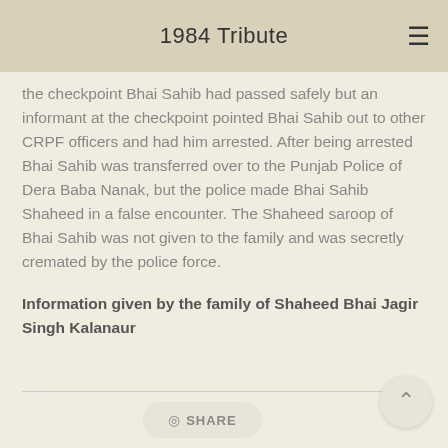1984 Tribute
the checkpoint Bhai Sahib had passed safely but an informant at the checkpoint pointed Bhai Sahib out to other CRPF officers and had him arrested. After being arrested Bhai Sahib was transferred over to the Punjab Police of Dera Baba Nanak, but the police made Bhai Sahib Shaheed in a false encounter. The Shaheed saroop of Bhai Sahib was not given to the family and was secretly cremated by the police force.
Information given by the family of Shaheed Bhai Jagir Singh Kalanaur